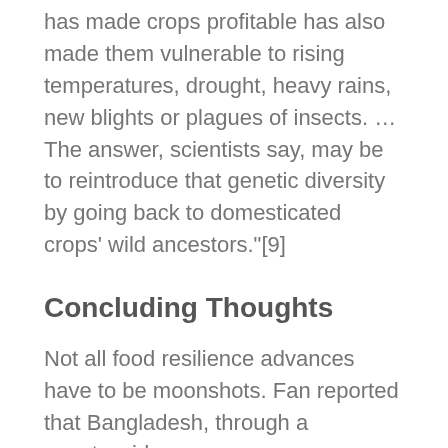has made crops profitable has also made them vulnerable to rising temperatures, drought, heavy rains, new blights or plagues of insects. … The answer, scientists say, may be to reintroduce that genetic diversity by going back to domesticated crops' wild ancestors."[9]
Concluding Thoughts
Not all food resilience advances have to be moonshots. Fan reported that Bangladesh, through a countrywide